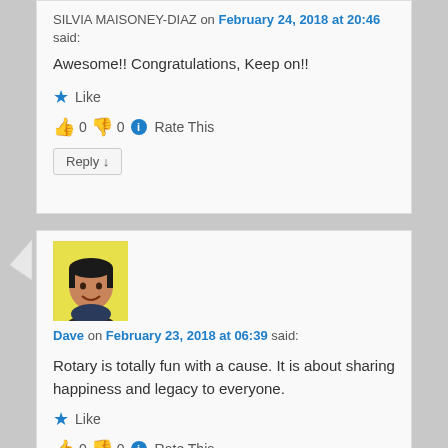SILVIA MAISONEY-DIAZ on February 24, 2018 at 20:46 said:
Awesome!! Congratulations, Keep on!!
Like
👍 0 👎 0 ℹ Rate This
Reply ↓
[Figure (photo): Avatar photo of Dave, a man with short dark hair, smiling, on a yellow background]
Dave on February 23, 2018 at 06:39 said:
Rotary is totally fun with a cause. It is about sharing happiness and legacy to everyone.
Like
👍 0 👎 0 ℹ Rate This